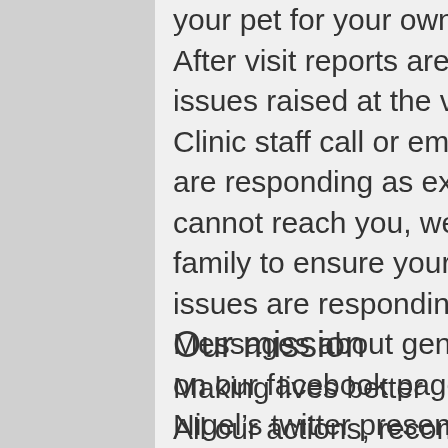your pet for your own interest. After visit reports are emailed out to remind or clarify issues raised at the visit. Clinic staff call or email for updates to ensure patients are responding as expected. If for any reason we cannot reach you, we appreciate updates from the family to ensure your pet is recovering or health issues are responding as desired. Messages about general health and welfare appear on our facebook page, our twitter account and via Nigel's twitter presence.
Our mission
Making lives better All our actions, recommendations, services and products have to do the best possible to achieve that purpose. Experts in animal welfare have defined the 6 freedoms every pet needs and